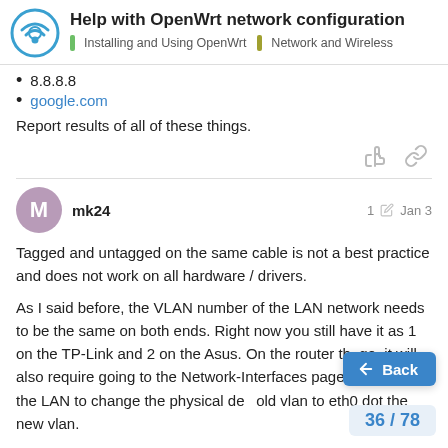Help with OpenWrt network configuration | Installing and Using OpenWrt | Network and Wireless
8.8.8.8
google.com
Report results of all of these things.
mk24  1  Jan 3
Tagged and untagged on the same cable is not a best practice and does not work on all hardware / drivers.
As I said before, the VLAN number of the LAN network needs to be the same on both ends. Right now you still have it as 1 on the TP-Link and 2 on the Asus. On the router th ge, it will also require going to the Network-Interfaces page and editing the LAN to change the physical de old vlan to eth0 dot the new vlan.